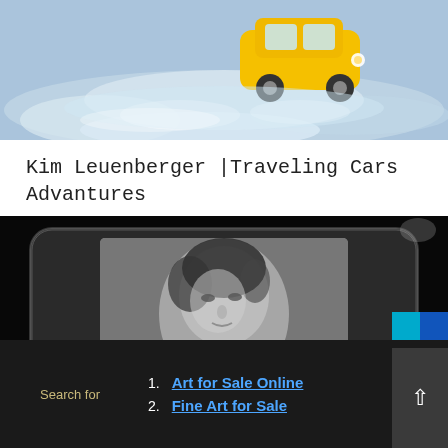[Figure (photo): Top cropped image showing a yellow toy/miniature car in snow or icy water with blue-white splashing background]
Kim Leuenberger |Traveling Cars Advantures
[Figure (photo): Black and white photograph of a woman's portrait embedded in or behind a rounded rectangular tray or frame, with dark background]
Search for
1. Art for Sale Online
2. Fine Art for Sale